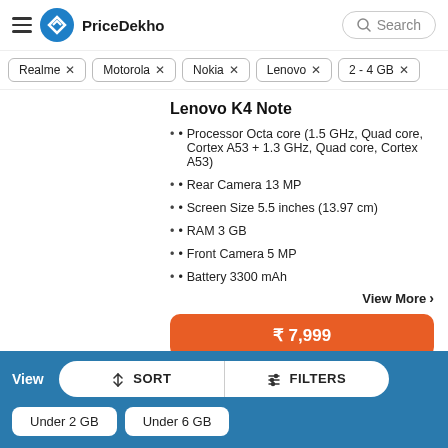PriceDekho
Realme ×
Motorola ×
Nokia ×
Lenovo ×
2 - 4 GB ×
Lenovo K4 Note
Processor Octa core (1.5 GHz, Quad core, Cortex A53 + 1.3 GHz, Quad core, Cortex A53)
Rear Camera 13 MP
Screen Size 5.5 inches (13.97 cm)
RAM 3 GB
Front Camera 5 MP
Battery 3300 mAh
₹ 7,999
View More
View
SORT
FILTERS
Under 2 GB
Under 6 GB